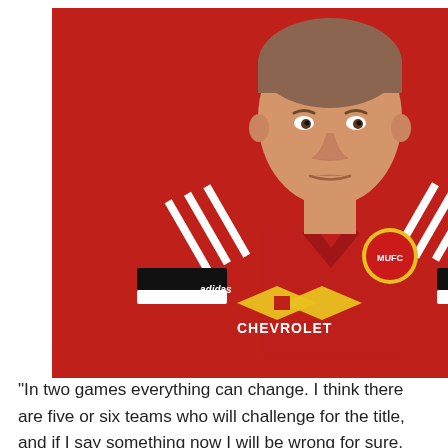[Figure (photo): A male footballer wearing a red Manchester United jersey with Chevrolet sponsor logo and Adidas branding, photographed against a red background in a promotional/official club photo.]
"In two games everything can change. I think there are five or six teams who will challenge for the title, and if I say something now I will be wrong for sure. You have Manchester City, us, Chelsea, Arsenal, Liverpool,